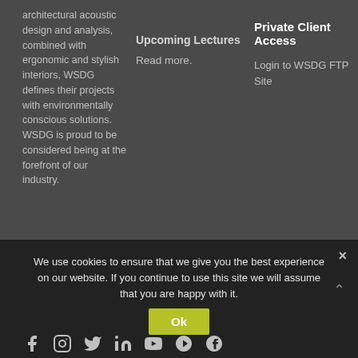architectural acoustic design and analysis, combined with ergonomic and stylish interiors, WSDG defines their projects with environmentally conscious solutions. WSDG is proud to be considered being at the forefront of our industry.
Upcoming Lectures
Read more.
Private Client Access
Login to WSDG FTP Site
We use cookies to ensure that we give you the best experience on our website. If you continue to use this site we will assume that you are happy with it.
Ok
[Figure (other): Social media icons: Facebook, Instagram, Twitter, LinkedIn, YouTube, Pinterest, Spotify]